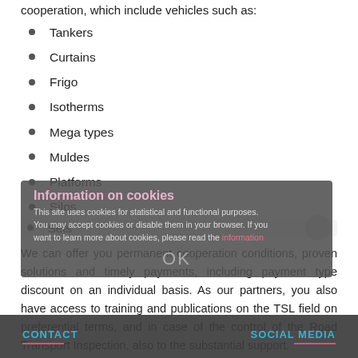cooperation, which include vehicles such as:
Tankers
Curtains
Frigo
Isotherms
Mega types
Muldes
Platforms
Silos
Sets
We can offer you permanent cooperation conditions, proven solutions and timely payments, including payment type discount on an individual basis. As our partners, you also have access to training and publications on the TSL field on preferential terms, and in case of the control of the Road Transport Inspection, also to the substantial support.
Information on cookies
This site uses cookies for statistical and functional purposes.
You may accept cookies or disable them in your browser. If you want to learn more about cookies, please read the information
OK
CONTACT   SOCIAL MEDIA